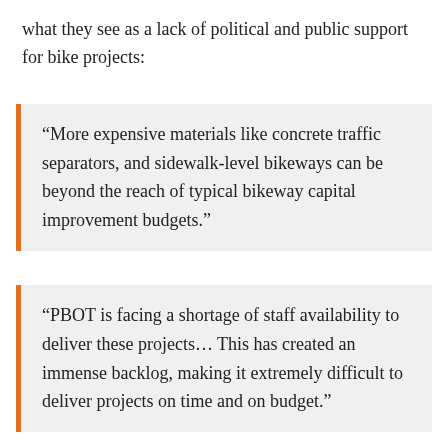what they see as a lack of political and public support for bike projects:
“More expensive materials like concrete traffic separators, and sidewalk-level bikeways can be beyond the reach of typical bikeway capital improvement budgets.”
“PBOT is facing a shortage of staff availability to deliver these projects… This has created an immense backlog, making it extremely difficult to deliver projects on time and on budget.”
“There have been numerous cases of bikeway projects getting delayed for years or ending up with substandard